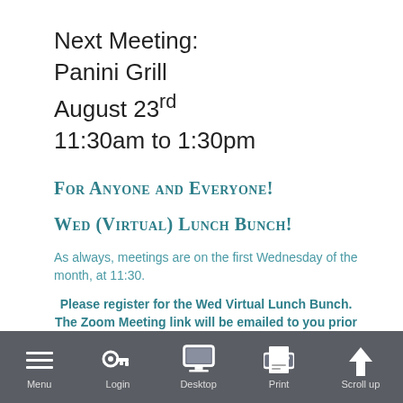Next Meeting:
Panini Grill
August 23rd
11:30am to 1:30pm
For Anyone and Everyone!
Wed (Virtual) Lunch Bunch!
As always, meetings are on the first Wednesday of the month, at 11:30.
Please register for the Wed Virtual Lunch Bunch. The Zoom Meeting link will be emailed to you prior to the start of the event.
[Figure (logo): SNAP! logo with stylized text]
Menu  Login  Desktop  Print  Scroll up